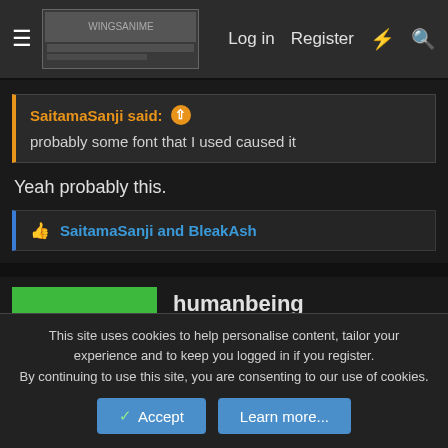Log in  Register
SaitamaSanji said: probably some font that I used caused it
Yeah probably this.
SaitamaSanji and BleakAsh
humanbeing
This site uses cookies to help personalise content, tailor your experience and to keep you logged in if you register. By continuing to use this site, you are consenting to our use of cookies.